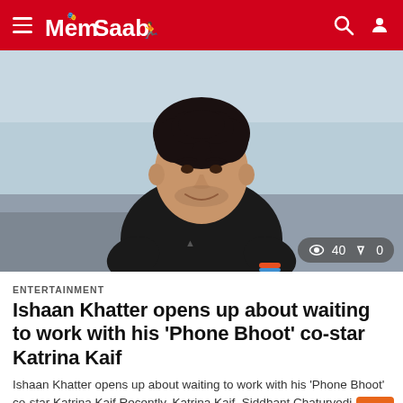MemSaab — navigation bar with hamburger menu, logo, search and user icons
[Figure (photo): Young Indian man with curly dark hair wearing a black t-shirt, smiling, photographed outdoors with a grey-blue sky and water behind him. Stats badge shows eye icon with 40 views and share icon with 0 shares.]
ENTERTAINMENT
Ishaan Khatter opens up about waiting to work with his ‘Phone Bhoot’ co-star Katrina Kaif
Ishaan Khatter opens up about waiting to work with his ‘Phone Bhoot’ co-star Katrina Kaif Recently, Katrina Kaif, Siddhant Chaturvedi, and Ishaan Khatter announced their...